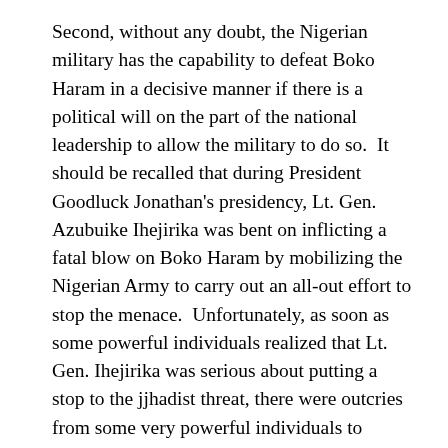Second, without any doubt, the Nigerian military has the capability to defeat Boko Haram in a decisive manner if there is a political will on the part of the national leadership to allow the military to do so.  It should be recalled that during President Goodluck Jonathan's presidency, Lt. Gen. Azubuike Ihejirika was bent on inflicting a fatal blow on Boko Haram by mobilizing the Nigerian Army to carry out an all-out effort to stop the menace.  Unfortunately, as soon as some powerful individuals realized that Lt. Gen. Ihejirika was serious about putting a stop to the jjhadist threat, there were outcries from some very powerful individuals to discourage President Jonathan and the general from doing so.  Statements were made indicating that Southern Christian leaders were bent on destroying the Islamic North since both President Jonathan and Lt. Gen. Ihejirika were Christians from Southern Nigeria. F...